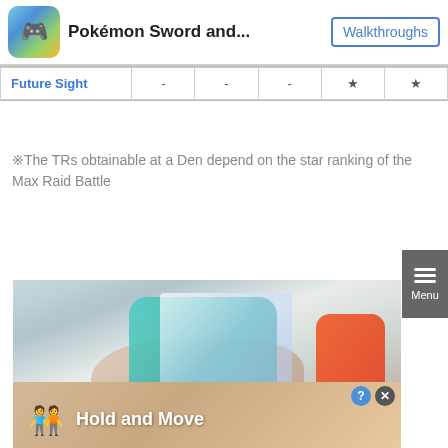Pokémon Sword and... | Walkthroughs
| Move | 1★ | 2★ | 3★ | 4★ | 5★ |
| --- | --- | --- | --- | --- | --- |
| Future Sight | - | - | - | ★ | ★ |
※The TRs obtainable at a Den depend on the star ranking of the Max Raid Battle
[Figure (photo): Hands holding a Nintendo Switch with teal/green left Joy-Con and red right Joy-Con]
[Figure (screenshot): Ad banner showing 'Hold and Move' with two character icons on a sandy/wooden background]